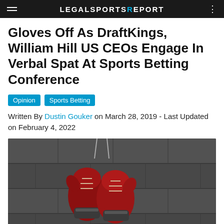LEGALSPORTSREPORT
Gloves Off As DraftKings, William Hill US CEOs Engage In Verbal Spat At Sports Betting Conference
Opinion  Sports Betting
Written By Dustin Gouker on March 28, 2019 - Last Updated on February 4, 2022
[Figure (photo): Red boxing gloves hanging on a rope against a dark concrete wall background]